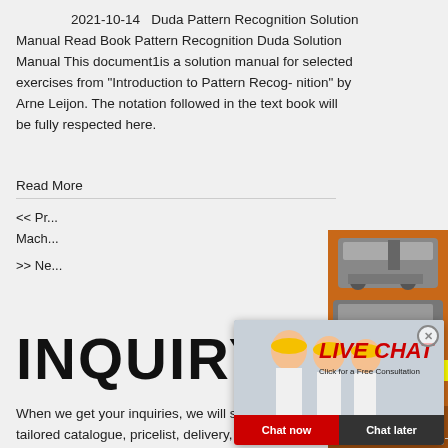2021-10-14  Duda Pattern Recognition Solution Manual Read Book Pattern Recognition Duda Solution Manual This document1is a solution manual for selected exercises from “Introduction to Pattern Recog- nition” by Arne Leijon. The notation followed in the text book will be fully respected here.
Read More
<< Pr... Mach...
>> Ne...
[Figure (photo): Live chat popup overlay showing workers in hard hats, LIVE CHAT heading in red italic, Click for a Free Consultation text, Chat now and Chat later buttons]
[Figure (photo): Orange sidebar with mining/crushing machinery images, Enjoy 3% discount label, Click to Chat button, Enquiry section, limingjlmofen@sina.com email]
INQUIRY
When we get your inquiries, we will send tailored catalogue, pricelist, delivery, payment